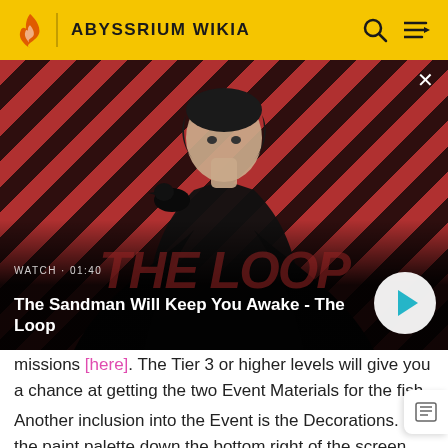ABYSSRIUM WIKIA
[Figure (screenshot): Video thumbnail showing a person in dark clothing with a raven on shoulder against a red diagonal-striped background. Title overlay: 'The Sandman Will Keep You Awake - The Loop'. Watch • 01:40. Play button on right.]
missions [here]. The Tier 3 or higher levels will give you a chance at getting the two Event Materials for the fish.
Another inclusion into the Event is the Decorations. In the paint palette down the bottom right of the screen, you